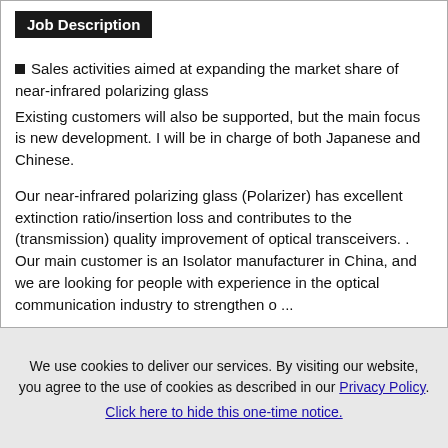Job Description
Sales activities aimed at expanding the market share of near-infrared polarizing glass
Existing customers will also be supported, but the main focus is new development. I will be in charge of both Japanese and Chinese.
Our near-infrared polarizing glass (Polarizer) has excellent extinction ratio/insertion loss and contributes to the (transmission) quality improvement of optical transceivers. . Our main customer is an Isolator manufacturer in China, and we are looking for people with experience in the optical communication industry to strengthen o ...
We use cookies to deliver our services. By visiting our website, you agree to the use of cookies as described in our Privacy Policy.
Click here to hide this one-time notice.